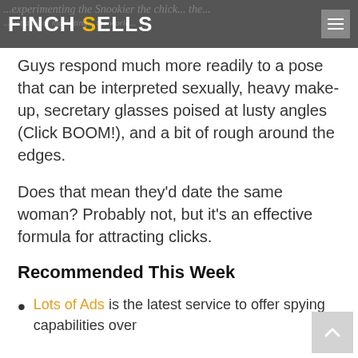Finch Sells
Guys respond much more readily to a pose that can be interpreted sexually, heavy make-up, secretary glasses poised at lusty angles (Click BOOM!), and a bit of rough around the edges.
Does that mean they’d date the same woman? Probably not, but it’s an effective formula for attracting clicks.
Recommended This Week
Lots of Ads is the latest service to offer spying capabilities over Facebook Ads. Subscribers The